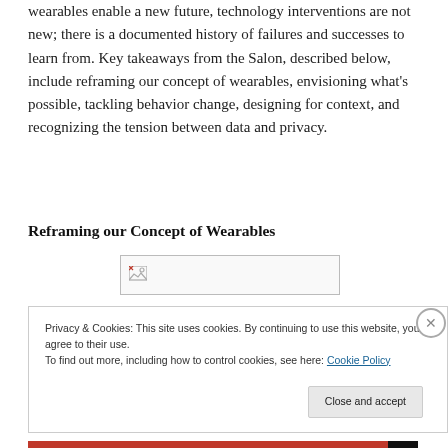wearables enable a new future, technology interventions are not new; there is a documented history of failures and successes to learn from. Key takeaways from the Salon, described below, include reframing our concept of wearables, envisioning what's possible, tackling behavior change, designing for context, and recognizing the tension between data and privacy.
Reframing our Concept of Wearables
[Figure (photo): Broken image placeholder]
Privacy & Cookies: This site uses cookies. By continuing to use this website, you agree to their use.
To find out more, including how to control cookies, see here: Cookie Policy